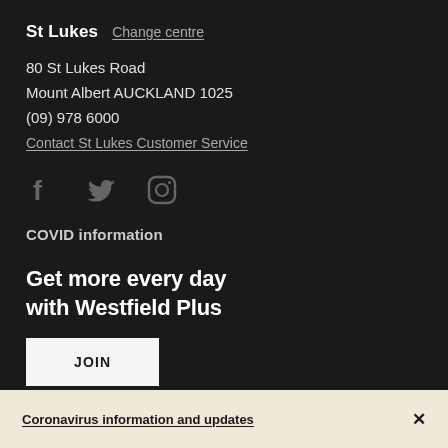St Lukes   Change centre
80 St Lukes Road
Mount Albert AUCKLAND 1025
(09) 978 6000
Contact St Lukes Customer Service
[Figure (illustration): Social media icons: Facebook, Twitter, Instagram]
COVID information
Get more every day with Westfield Plus
JOIN
Coronavirus information and updates   ×